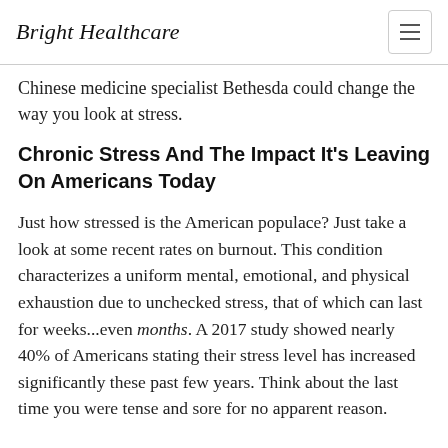Bright Healthcare
Chinese medicine specialist Bethesda could change the way you look at stress.
Chronic Stress And The Impact It's Leaving On Americans Today
Just how stressed is the American populace? Just take a look at some recent rates on burnout. This condition characterizes a uniform mental, emotional, and physical exhaustion due to unchecked stress, that of which can last for weeks...even months. A 2017 study showed nearly 40% of Americans stating their stress level has increased significantly these past few years. Think about the last time you were tense and sore for no apparent reason.